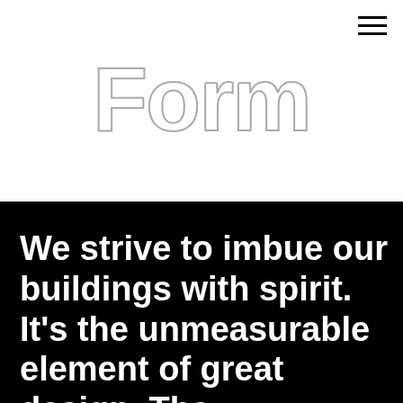≡
Form
We strive to imbue our buildings with spirit. It's the unmeasurable element of great design. The